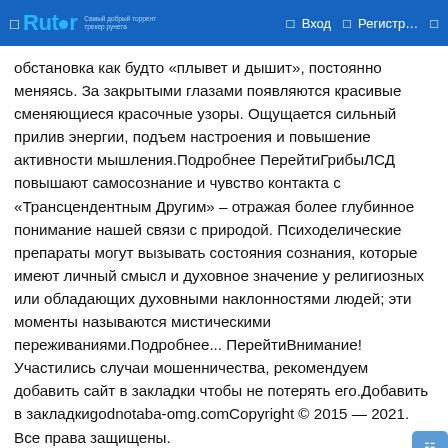Rutor — Вход — Регистр...
обстановка как будто «плывет и дышит», постоянно меняясь. За закрытыми глазами появляются красивые сменяющиеся красочные узоры. Ощущается сильный прилив энергии, подъем настроения и повышение активности мышления.Подробнее ПерейтиГрибыЛСД повышают самосознание и чувство контакта с «Трансцендентным Другим» – отражая более глубинное понимание нашей связи с природой. Психоделические препараты могут вызывать состояния сознания, которые имеют личный смысл и духовное значение у религиозных или обладающих духовными наклонностями людей; эти моменты называются мистическими переживаниями.Подробнее... ПерейтиВнимание!Участились случаи мошенничества, рекомендуем добавить сайт в закладки чтобы не потерять его.Добавить в закладкиgodnotaba-omg.comCopyright © 2015 — 2021. Все права защищены.
Вся информация представлена в ознакомительных целях и пропагандой не является.ОМГ магазин Загрузка, ждите...